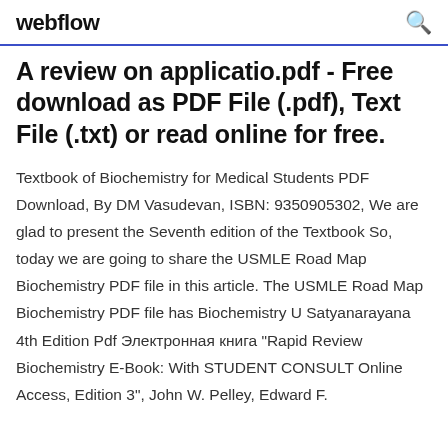webflow
A review on applicatio.pdf - Free download as PDF File (.pdf), Text File (.txt) or read online for free.
Textbook of Biochemistry for Medical Students PDF Download, By DM Vasudevan, ISBN: 9350905302, We are glad to present the Seventh edition of the Textbook So, today we are going to share the USMLE Road Map Biochemistry PDF file in this article. The USMLE Road Map Biochemistry PDF file has Biochemistry U Satyanarayana 4th Edition Pdf Электронная книга "Rapid Review Biochemistry E-Book: With STUDENT CONSULT Online Access, Edition 3", John W. Pelley, Edward F.